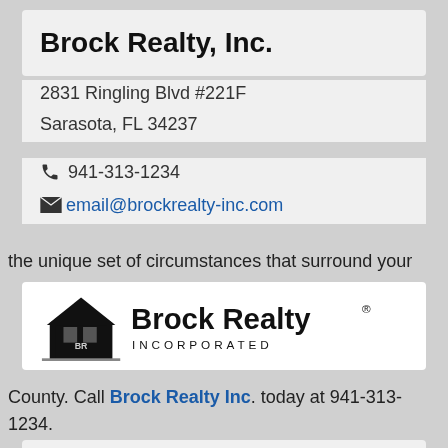Brock Realty, Inc.
2831 Ringling Blvd #221F
Sarasota, FL 34237
941-313-1234
email@brockrealty-inc.com
the unique set of circumstances that surround your
[Figure (logo): Brock Realty Incorporated logo with house icon and text]
County. Call Brock Realty Inc. today at 941-313-1234.